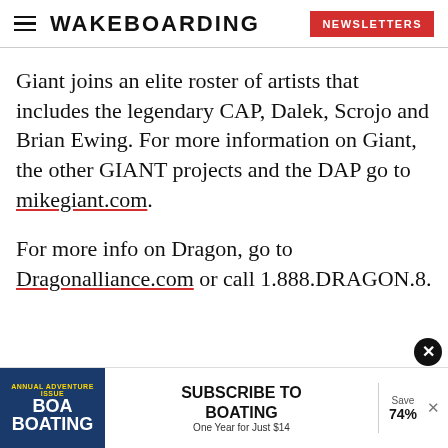WAKEBOARDING | NEWSLETTERS
Giant joins an elite roster of artists that includes the legendary CAP, Dalek, Scrojo and Brian Ewing. For more information on Giant, the other GIANT projects and the DAP go to mikegiant.com.
For more info on Dragon, go to Dragonalliance.com or call 1.888.DRAGON.8.
[Figure (other): Advertisement banner for Boating magazine subscription: Subscribe to Boating, One Year for Just $14, Save 74%]